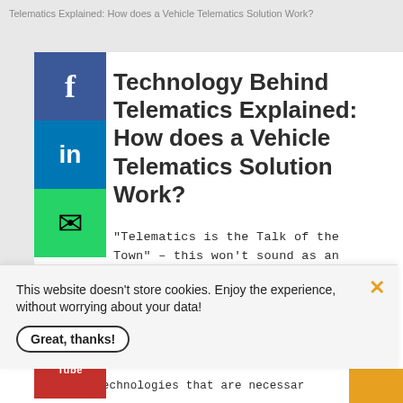Telematics Explained: How does a Vehicle Telematics Solution Work?
Technology Behind Telematics Explained: How does a Vehicle Telematics Solution Work?
"Telematics is the Talk of the Town" – this won't sound as an understatement to the enthusiasts of the Automotive Industry!
A lot has been written and spoken about how Vehicle Telematics features are shaping the future of fleet management, remote vehicle
technologies that are necessar
This website doesn't store cookies. Enjoy the experience, without worrying about your data!
Great, thanks!